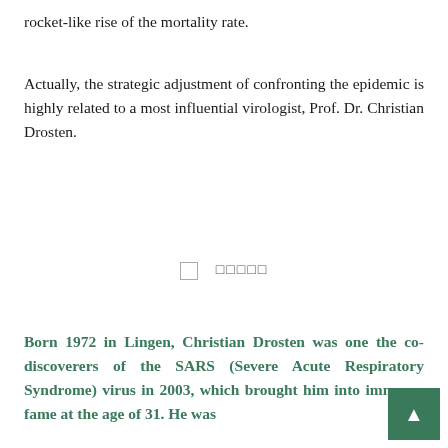rocket-like rise of the mortality rate.
Actually, the strategic adjustment of confronting the epidemic is highly related to a most influential virologist, Prof. Dr. Christian Drosten.
[Figure (photo): Broken image placeholder with Chinese/CJK characters label in center]
Born 1972 in Lingen, Christian Drosten was one the co-discoverers of the SARS (Severe Acute Respiratory Syndrome) virus in 2003, which brought him into immense fame at the age of 31. He was